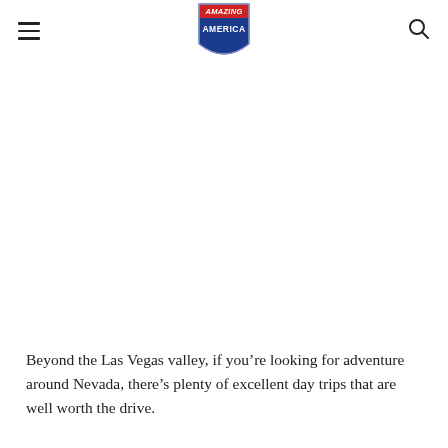Amazing America
Beyond the Las Vegas valley, if you’re looking for adventure around Nevada, there’s plenty of excellent day trips that are well worth the drive.